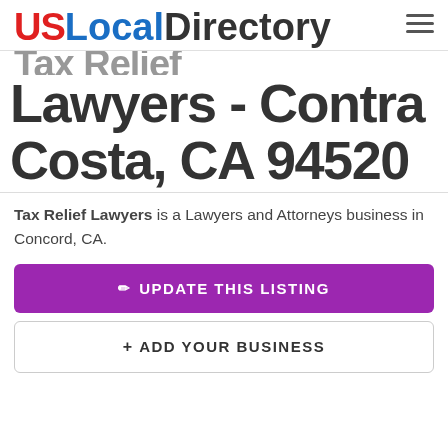US Local Directory
Lawyers - Contra Costa, CA 94520
Tax Relief Lawyers is a Lawyers and Attorneys business in Concord, CA.
UPDATE THIS LISTING
+ ADD YOUR BUSINESS